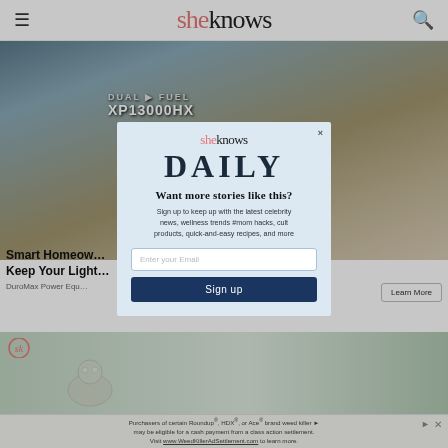sheknows
[Figure (photo): Person operating a DuroMax dual-fuel generator (XP13000HX) outdoors next to a building. Large blue machine visible with fuel labels.]
Smart Homeow… Keep Your Light…
DuroMax Power Equ…
[Figure (photo): Bottom content strip showing a floral/pet themed image with SK logo watermark on a green-tinted background.]
[Figure (other): Newsletter signup modal overlay. Contains SheKnows logo, DAILY headline, 'Want more stories like this?' prompt, email input field, and Sign up button.]
Want more stories like this?
Sign up to keep up with the latest celebrity news, wellness trends #mom hacks, cult products, quick-and-easy recipes, and more
Enter your Email
Sign up
Learn More
Purchasers of certain Roundup®, HDX®, or Ace® brand weed killer may be eligible for a cash payment from a class action settlement. Visit www.WeedKillerAdSettlement.com to learn more.